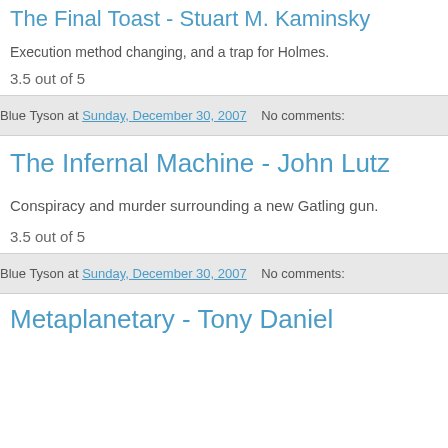The Final Toast - Stuart M. Kaminsky
Execution method changing, and a trap for Holmes.
3.5 out of 5
Blue Tyson at Sunday, December 30, 2007   No comments:
The Infernal Machine - John Lutz
Conspiracy and murder surrounding a new Gatling gun.
3.5 out of 5
Blue Tyson at Sunday, December 30, 2007   No comments:
Metaplanetary - Tony Daniel